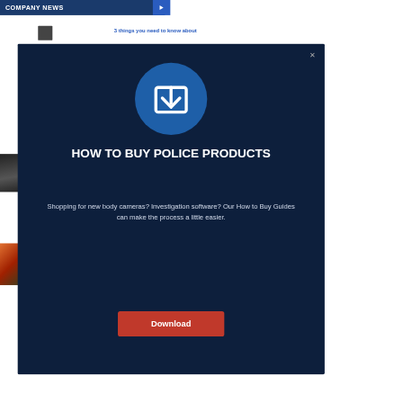COMPANY NEWS
3 things you need to know about
[Figure (screenshot): Modal popup dialog on dark navy background with download icon circle, title 'HOW TO BUY POLICE PRODUCTS', descriptive text about How to Buy Guides, and a red Download button. Background shows partial website content including 'COMPANY NEWS' banner.]
HOW TO BUY POLICE PRODUCTS
Shopping for new body cameras? Investigation software? Our How to Buy Guides can make the process a little easier.
Download